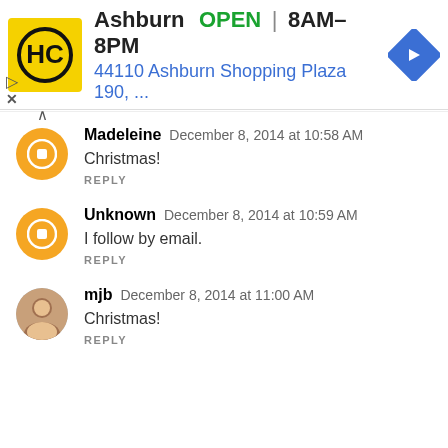[Figure (screenshot): Advertisement banner for HC (Hungry Howie's or similar) showing Ashburn location, OPEN status, hours 8AM-8PM, address 44110 Ashburn Shopping Plaza 190, and a blue navigation arrow icon.]
Madeleine  December 8, 2014 at 10:58 AM
Christmas!
REPLY
Unknown  December 8, 2014 at 10:59 AM
I follow by email.
REPLY
mjb  December 8, 2014 at 11:00 AM
Christmas!
REPLY